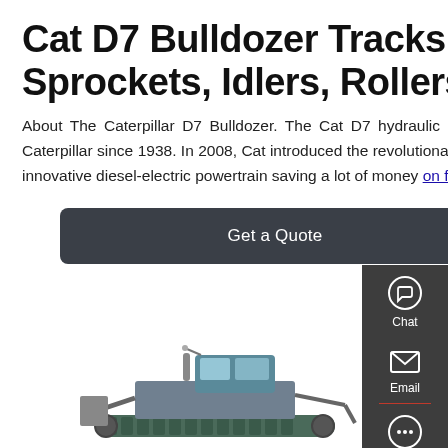Cat D7 Bulldozer Tracks, Sprockets, Idlers, Rollers
About The Caterpillar D7 Bulldozer. The Cat D7 hydraulic crawler dozer is a medium bulldozer manufactured by Caterpillar since 1938. In 2008, Cat introduced the revolutionary D7E series of this track-type tractor, which features an innovative diesel-electric powertrain saving a lot of money on fuel when compared to other machines in its class.
Get a Quote
[Figure (photo): Caterpillar D7 bulldozer photographed from the side, showing cab and tracks]
[Figure (infographic): Right sidebar with Chat, Email, and Contact icons on dark grey background]